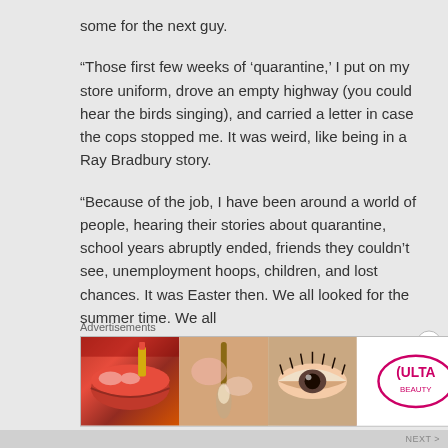some for the next guy.
“Those first few weeks of ‘quarantine,’ I put on my store uniform, drove an empty highway (you could hear the birds singing), and carried a letter in case the cops stopped me. It was weird, like being in a Ray Bradbury story.
“Because of the job, I have been around a world of people, hearing their stories about quarantine, school years abruptly ended, friends they couldn’t see, unemployment hoops, children, and lost chances. It was Easter then. We all looked for the summer time. We all
[Figure (advertisement): Ulta Beauty advertisement banner showing makeup product images and SHOP NOW text]